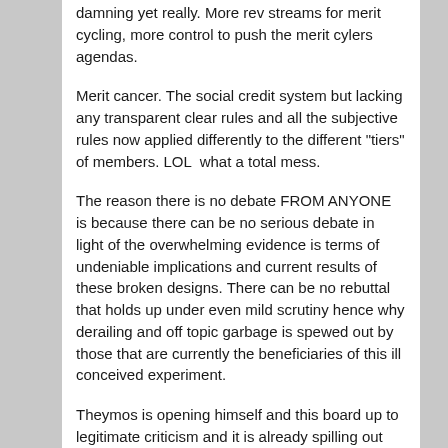damning yet really. More rev streams for merit cycling, more control to push the merit cylers agendas.
Merit cancer. The social credit system but lacking any transparent clear rules and all the subjective rules now applied differently to the different "tiers" of members. LOL  what a total mess.
The reason there is no debate FROM ANYONE is because there can be no serious debate in light of the overwhelming evidence is terms of undeniable implications and current results of these broken designs. There can be no rebuttal that holds up under even mild scrutiny hence why derailing and off topic garbage is spewed out by those that are currently the beneficiaries of this ill conceived experiment.
Theymos is opening himself and this board up to legitimate criticism and it is already spilling out past the boundaries of this forum to other places. This is not good for bitcoin and not good for the entire movement.
Transparent clear rules that are applied equally to all members is the only acceptable way forward. You